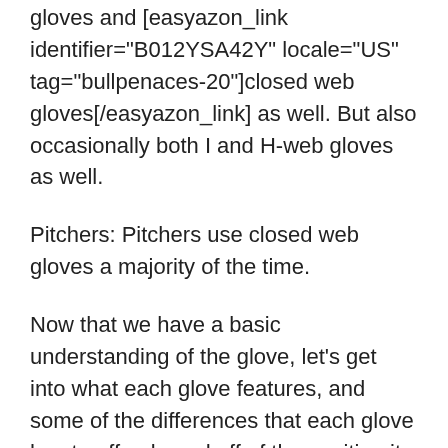gloves and [easyazon_link identifier="B012YSA42Y" locale="US" tag="bullpenaces-20"]closed web gloves[/easyazon_link] as well. But also occasionally both I and H-web gloves as well.
Pitchers: Pitchers use closed web gloves a majority of the time.
Now that we have a basic understanding of the glove, let's get into what each glove features, and some of the differences that each glove has to offer, based off of the position it is used for. We'll work our way around the diamond starting at position #1, the pitcher.
Types of Baseball Gloves: PITCHER